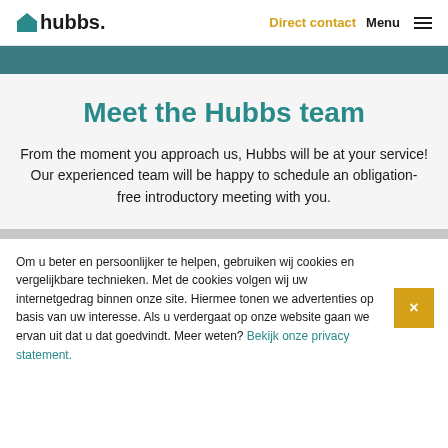hubbs. | Direct contact | Menu
Meet the Hubbs team
From the moment you approach us, Hubbs will be at your service! Our experienced team will be happy to schedule an obligation-free introductory meeting with you.
Om u beter en persoonlijker te helpen, gebruiken wij cookies en vergelijkbare technieken. Met de cookies volgen wij uw internetgedrag binnen onze site. Hiermee tonen we advertenties op basis van uw interesse. Als u verdergaat op onze website gaan we ervan uit dat u dat goedvindt. Meer weten? Bekijk onze privacy statement.